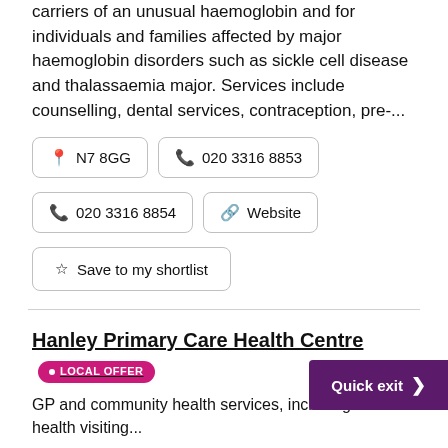carriers of an unusual haemoglobin and for individuals and families affected by major haemoglobin disorders such as sickle cell disease and thalassaemia major. Services include counselling, dental services, contraception, pre-...
📍 N7 8GG
📞 020 3316 8853
📞 020 3316 8854
🔗 Website
☆ Save to my shortlist
Hanley Primary Care Health Centre • LOCAL OFFER
GP and community health services, including health visiting...